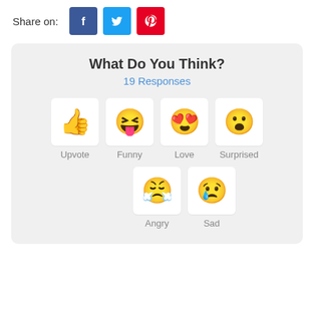Share on:
[Figure (infographic): Social share buttons: Facebook (blue), Twitter (light blue), Pinterest (red)]
What Do You Think?
19 Responses
[Figure (infographic): Six emoji reaction buttons: Upvote (thumbs up), Funny (laughing face with tongue), Love (smiling face with heart eyes), Surprised (surprised face), Angry (face with steam from nose), Sad (sad face with tear)]